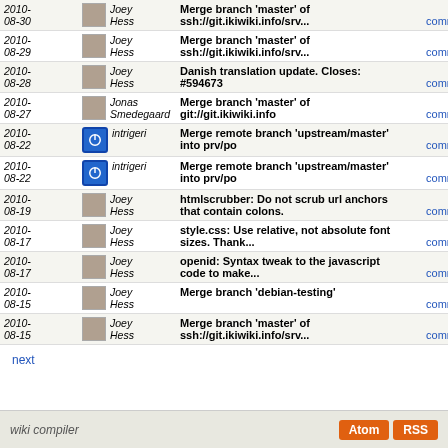| Date | Author | Message | Links |
| --- | --- | --- | --- |
| 2010-08-30 | Joey Hess | Merge branch 'master' of ssh://git.ikiwiki.info/srv... | tree | commitdiff |
| 2010-08-29 | Joey Hess | Merge branch 'master' of ssh://git.ikiwiki.info/srv... | tree | commitdiff |
| 2010-08-28 | Joey Hess | Danish translation update. Closes: #594673 | tree | commitdiff |
| 2010-08-27 | Jonas Smedegaard | Merge branch 'master' of git://git.ikiwiki.info | tree | commitdiff |
| 2010-08-22 | intrigeri | Merge remote branch 'upstream/master' into prv/po | tree | commitdiff |
| 2010-08-22 | intrigeri | Merge remote branch 'upstream/master' into prv/po | tree | commitdiff |
| 2010-08-19 | Joey Hess | htmlscrubber: Do not scrub url anchors that contain colons. | tree | commitdiff |
| 2010-08-17 | Joey Hess | style.css: Use relative, not absolute font sizes. Thank... | tree | commitdiff |
| 2010-08-17 | Joey Hess | openid: Syntax tweak to the javascript code to make... | tree | commitdiff |
| 2010-08-15 | Joey Hess | Merge branch 'debian-testing' | tree | commitdiff |
| 2010-08-15 | Joey Hess | Merge branch 'master' of ssh://git.ikiwiki.info/srv... | tree | commitdiff |
next
wiki compiler | Atom | RSS